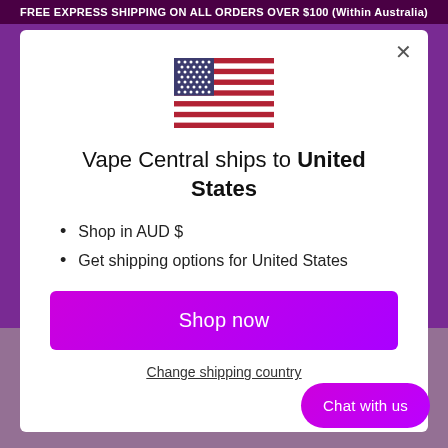FREE EXPRESS SHIPPING ON ALL ORDERS OVER $100 (Within Australia)
[Figure (illustration): US flag icon centered in modal]
Vape Central ships to United States
Shop in AUD $
Get shipping options for United States
Shop now
Change shipping country
Chat with us